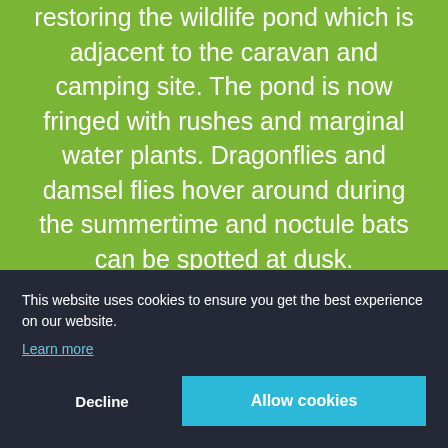restoring the wildlife pond which is adjacent to the caravan and camping site. The pond is now fringed with rushes and marginal water plants. Dragonflies and damsel flies hover around during the summertime and noctule bats can be spotted at dusk.
We have sown wildflower seeds and created a fen of od to et it for en re- planted with native trees.
This website uses cookies to ensure you get the best experience on our website.
Learn more
Decline
Allow cookies